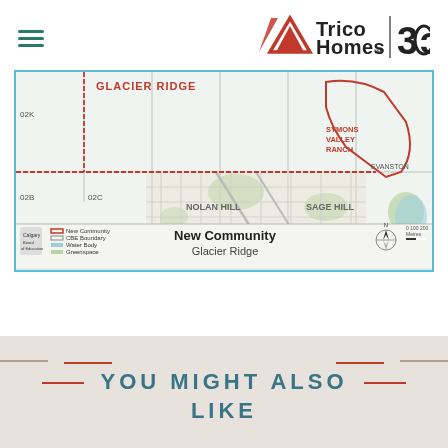[Figure (logo): Trico Homes 30th anniversary logo with hamburger menu icon on the left]
[Figure (map): Calgary Board of Education map showing New Community Glacier Ridge, with Symons Valley Ranch, Nolan Hill, Sage Hill, and Evanston neighborhoods labeled. Red boundary outlines the new community. Blue border around map. Legend shows New Community, CBE Boundary, Water Body, Greenspace.]
New Community Glacier Ridge
YOU MIGHT ALSO LIKE